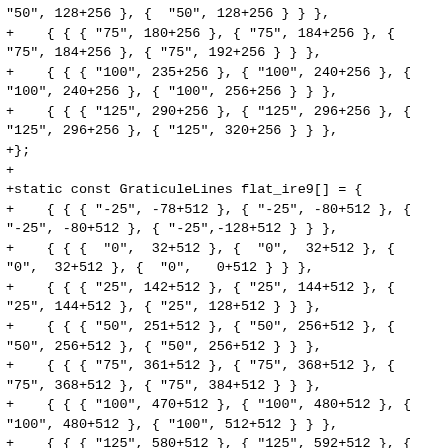"50", 128+256 }, { "50", 128+256 } } },
+    { { { "75", 180+256 }, { "75", 184+256 }, { "75", 184+256 }, { "75", 192+256 } } },
+    { { { "100", 235+256 }, { "100", 240+256 }, { "100", 240+256 }, { "100", 256+256 } } },
+    { { { "125", 290+256 }, { "125", 296+256 }, { "125", 296+256 }, { "125", 320+256 } } },
+};
+
+static const GraticuleLines flat_ire9[] = {
+    { { { "-25", -78+512 }, { "-25", -80+512 }, { "-25", -80+512 }, { "-25",-128+512 } } },
+    { { {  "0",  32+512 }, {  "0",  32+512 }, { "0",  32+512 }, {  "0",   0+512 } } },
+    { { { "25", 142+512 }, { "25", 144+512 }, { "25", 144+512 }, { "25", 128+512 } } },
+    { { { "50", 251+512 }, { "50", 256+512 }, { "50", 256+512 }, { "50", 256+512 } } },
+    { { { "75", 361+512 }, { "75", 368+512 }, { "75", 368+512 }, { "75", 384+512 } } },
+    { { { "100", 470+512 }, { "100", 480+512 }, { "100", 480+512 }, { "100", 512+512 } } },
+    { { { "125", 580+512 }, { "125", 592+512 }, { "125", 592+512 }, { "125", 640+512 } } },
+};
+
+static const GraticuleLines flat_ire10[] = {
+    { { { "-25",-156+1024 }, { "-25",-160+1024 }, { "-25",-160+1024 }, { "-25", -256+1024 } } },
+    { { {  "0",  64+1024 }, {  "0",  64+1024 }, {